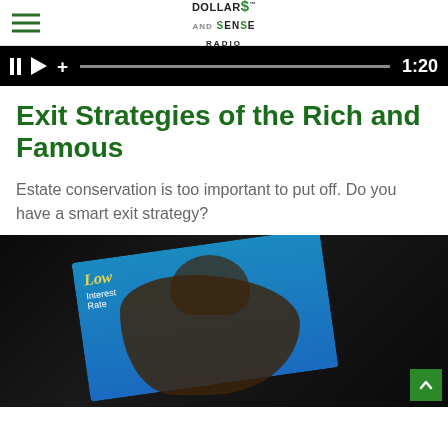Dollars and Sense Radio [logo]
[Figure (screenshot): Media player bar with pause, play, and plus icons, a progress bar, and time display showing 1:20]
Exit Strategies of the Rich and Famous
Estate conservation is too important to put off. Do you have a smart exit strategy?
[Figure (photo): Person touching a tablet screen in a dark room, with a graphic showing 'Low Interest Rate' on a blue background with a city skyline visible. A green scroll-to-top button is in the bottom right corner.]